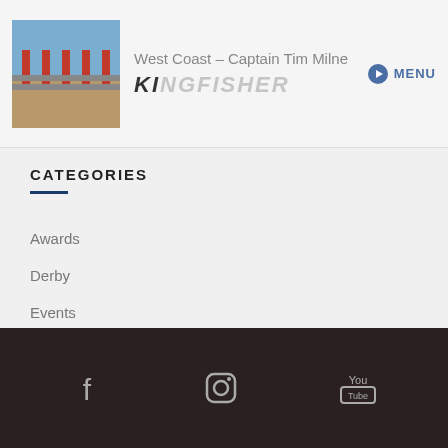West Coast – Captain Tim Milne | KINGFISHER
CATEGORIES
Awards
Derby
Events
Models
News
Facebook | Instagram | YouTube